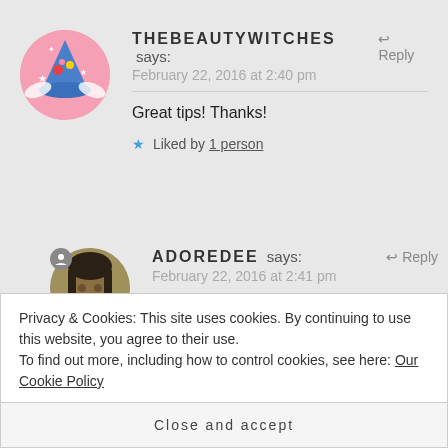[Figure (illustration): Circular avatar with pink background showing a blue witch hat with flowers and stars, with small wings]
THEBEAUTYWITCHES says: ↩ Reply
February 22, 2016 at 2:40 pm
Great tips! Thanks!
★ Liked by 1 person
[Figure (photo): Circular avatar photo of a woman with dark hair, with a person/user icon badge in top-left]
ADOREDEE says: ↩ Reply
February 22, 2016 at 2:41 pm
Privacy & Cookies: This site uses cookies. By continuing to use this website, you agree to their use.
To find out more, including how to control cookies, see here: Our Cookie Policy
Close and accept